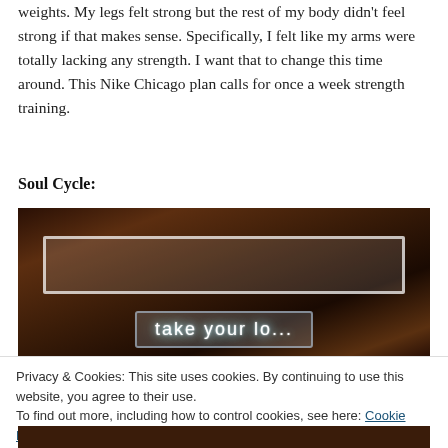weights. My legs felt strong but the rest of my body didn't feel strong if that makes sense. Specifically, I felt like my arms were totally lacking any strength. I want that to change this time around. This Nike Chicago plan calls for once a week strength training.
Soul Cycle:
[Figure (photo): Dark interior photo of a SoulCycle studio with neon sign reading 'take your...' partially visible at bottom]
Privacy & Cookies: This site uses cookies. By continuing to use this website, you agree to their use.
To find out more, including how to control cookies, see here: Cookie Policy
[Figure (photo): Partial bottom strip of another dark interior photo]